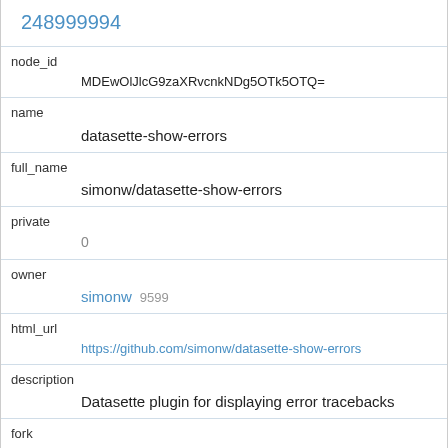248999994
node_id
    MDEwOlJlcG9zaXRvcnkNDg5OTk5OTQ=
name
    datasette-show-errors
full_name
    simonw/datasette-show-errors
private
    0
owner
    simonw 9599
html_url
    https://github.com/simonw/datasette-show-errors
description
    Datasette plugin for displaying error tracebacks
fork
    0
created_at
    2020-03-21T15:06:04Z
updated_at
    2020-09-24T00:17:29Z